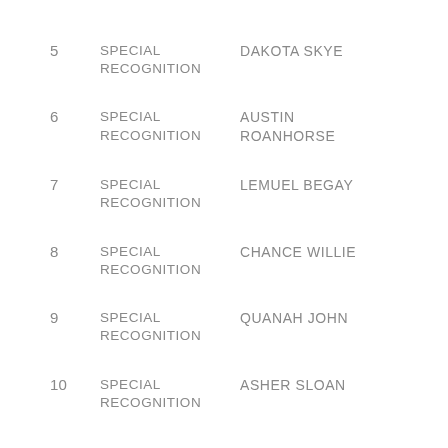5  SPECIAL RECOGNITION  DAKOTA SKYE
6  SPECIAL RECOGNITION  AUSTIN ROANHORSE
7  SPECIAL RECOGNITION  LEMUEL BEGAY
8  SPECIAL RECOGNITION  CHANCE WILLIE
9  SPECIAL RECOGNITION  QUANAH JOHN
10  SPECIAL RECOGNITION  ASHER SLOAN